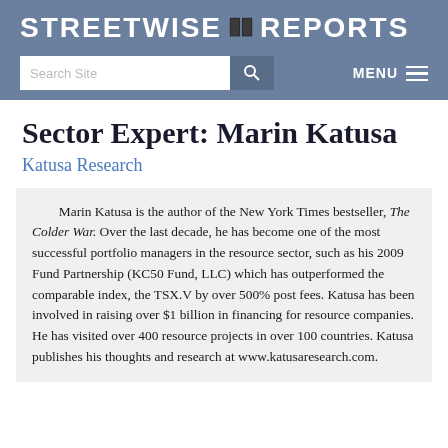STREETWISE REPORTS
Sector Expert: Marin Katusa
Katusa Research
Marin Katusa is the author of the New York Times bestseller, The Colder War. Over the last decade, he has become one of the most successful portfolio managers in the resource sector, such as his 2009 Fund Partnership (KC50 Fund, LLC) which has outperformed the comparable index, the TSX.V by over 500% post fees. Katusa has been involved in raising over $1 billion in financing for resource companies. He has visited over 400 resource projects in over 100 countries. Katusa publishes his thoughts and research at www.katusaresearch.com.